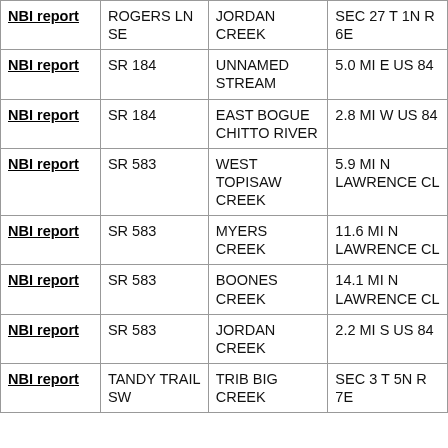| NBI report | ROGERS LN SE | JORDAN CREEK | SEC 27 T 1N R 6E |
| NBI report | SR 184 | UNNAMED STREAM | 5.0 MI E US 84 |
| NBI report | SR 184 | EAST BOGUE CHITTO RIVER | 2.8 MI W US 84 |
| NBI report | SR 583 | WEST TOPISAW CREEK | 5.9 MI N LAWRENCE CL |
| NBI report | SR 583 | MYERS CREEK | 11.6 MI N LAWRENCE CL |
| NBI report | SR 583 | BOONES CREEK | 14.1 MI N LAWRENCE CL |
| NBI report | SR 583 | JORDAN CREEK | 2.2 MI S US 84 |
| NBI report | TANDY TRAIL SW | TRIB BIG CREEK | SEC 3 T 5N R 7E |